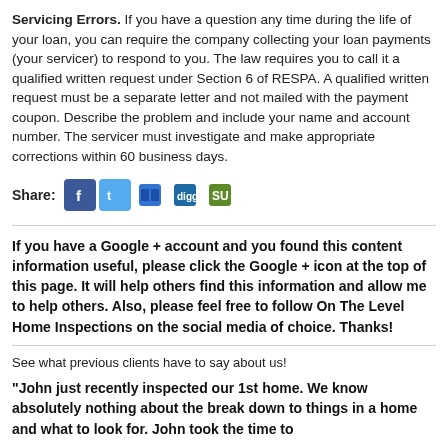Servicing Errors. If you have a question any time during the life of your loan, you can require the company collecting your loan payments (your servicer) to respond to you. The law requires you to call it a qualified written request under Section 6 of RESPA. A qualified written request must be a separate letter and not mailed with the payment coupon. Describe the problem and include your name and account number. The servicer must investigate and make appropriate corrections within 60 business days.
[Figure (infographic): Share row with social media icons: Facebook, Twitter, Delicious, Digg, StumbleUpon]
If you have a Google + account and you found this content informative, please click the Google + icon at the top of this page. It will help others find this information and allow me to help others. Also, please feel free to follow On The Level Home Inspections on the social media of choice. Thanks!
See what previous clients have to say about us!
"John just recently inspected our 1st home. We know absolutely nothing about the break down to things in a home and what to look for. John took the time to